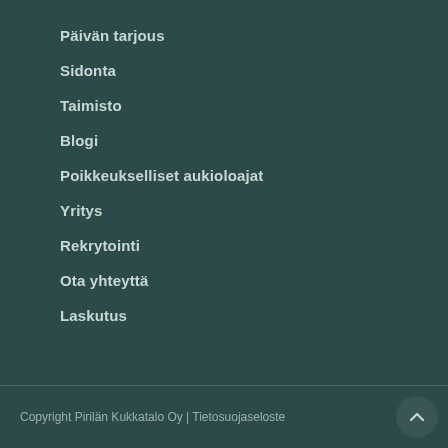Päivän tarjous
Sidonta
Taimisto
Blogi
Poikkeukselliset aukioloajat
Yritys
Rekrytointi
Ota yhteyttä
Laskutus
Copyright Pirilän Kukkatalo Oy | Tietosuojaseloste